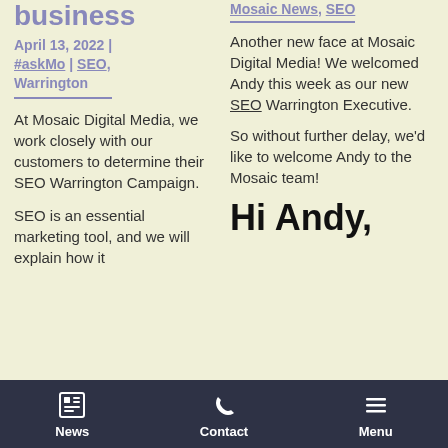business
April 13, 2022 | #askMo | SEO, Warrington
At Mosaic Digital Media, we work closely with our customers to determine their SEO Warrington Campaign.
SEO is an essential marketing tool, and we will explain how it
Mosaic News, SEO
Another new face at Mosaic Digital Media! We welcomed Andy this week as our new SEO Warrington Executive.
So without further delay, we'd like to welcome Andy to the Mosaic team!
Hi Andy,
News   Contact   Menu